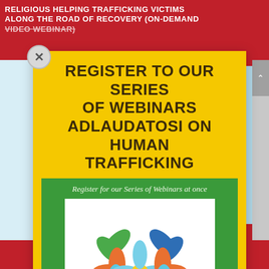RELIGIOUS HELPING TRAFFICKING VICTIMS ALONG THE ROAD OF RECOVERY (ON-DEMAND VIDEO WEBINAR)
REGISTER TO OUR SERIES OF WEBINARS ADLAUDATOSI ON HUMAN TRAFFICKING
Register for our Series of Webinars at once
[Figure (logo): Colorful flower/leaf pattern logo with green, blue, orange, and light blue petal shapes arranged symmetrically in a square, with a yellow circle in the center]
INTERNATIONAL WEBINARS